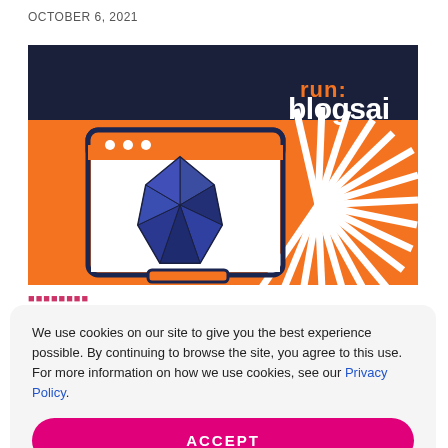OCTOBER 6, 2021
[Figure (illustration): run:blogsai banner with a dark navy header bar containing an orange 'run:' and white 'blogsai' logo text, and an orange background with white starburst rays. A browser window icon with a dark blue geometric gem/crystal shape inside is centered on the left half of the banner.]
We use cookies on our site to give you the best experience possible. By continuing to browse the site, you agree to this use. For more information on how we use cookies, see our Privacy Policy.
ACCEPT